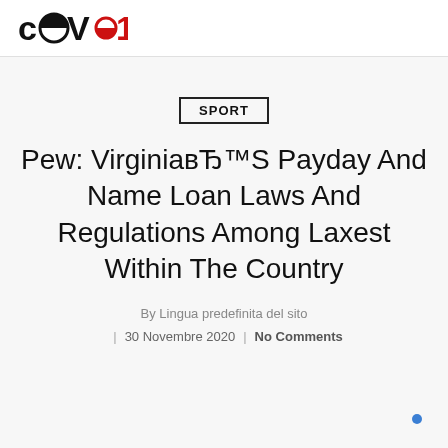COVO19 logo
SPORT
Pew: VirginiaвЂ™S Payday And Name Loan Laws And Regulations Among Laxest Within The Country
By Lingua predefinita del sito
| 30 Novembre 2020 | No Comments